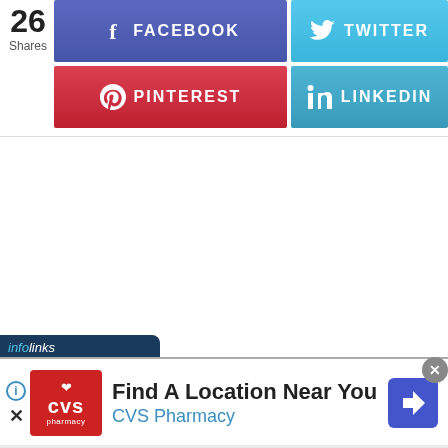26 Shares
[Figure (screenshot): Social sharing buttons: Facebook (blue-purple), Twitter (light blue), Pinterest (red), LinkedIn (blue). Share count shows 26 Shares.]
[Figure (infographic): Infolinks ad bar with CVS Pharmacy advertisement: Find A Location Near You, CVS Pharmacy, with navigation arrow icon and close button.]